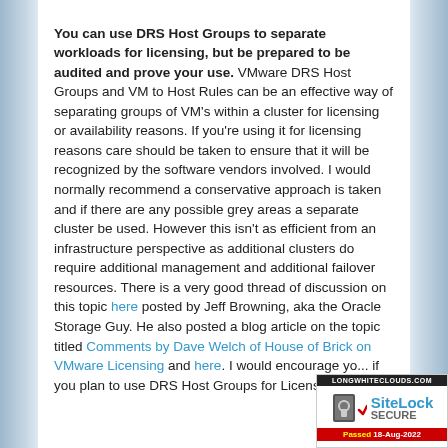You can use DRS Host Groups to separate workloads for licensing, but be prepared to be audited and prove your use. VMware DRS Host Groups and VM to Host Rules can be an effective way of separating groups of VM's within a cluster for licensing or availability reasons. If you're using it for licensing reasons care should be taken to ensure that it will be recognized by the software vendors involved. I would normally recommend a conservative approach is taken and if there are any possible grey areas a separate cluster be used. However this isn't as efficient from an infrastructure perspective as additional clusters do require additional management and additional failover resources. There is a very good thread of discussion on this topic here posted by Jeff Browning, aka the Oracle Storage Guy. He also posted a blog article on the topic titled Comments by Dave Welch of House of Brick on VMware Licensing and here. I would encourage you if you plan to use DRS Host Groups for Licensing se...
[Figure (logo): SiteLock SECURE badge with LONGWHITECLOUDS.COM header and Passed 18-Aug-2022 footer]